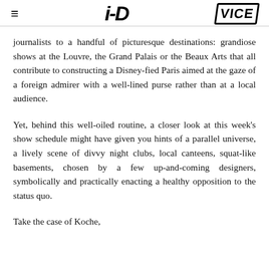i-D | VICE
journalists to a handful of picturesque destinations: grandiose shows at the Louvre, the Grand Palais or the Beaux Arts that all contribute to constructing a Disney-fied Paris aimed at the gaze of a foreign admirer with a well-lined purse rather than at a local audience.
Yet, behind this well-oiled routine, a closer look at this week's show schedule might have given you hints of a parallel universe, a lively scene of divvy night clubs, local canteens, squat-like basements, chosen by a few up-and-coming designers, symbolically and practically enacting a healthy opposition to the status quo.
Take the case of Koche, ...